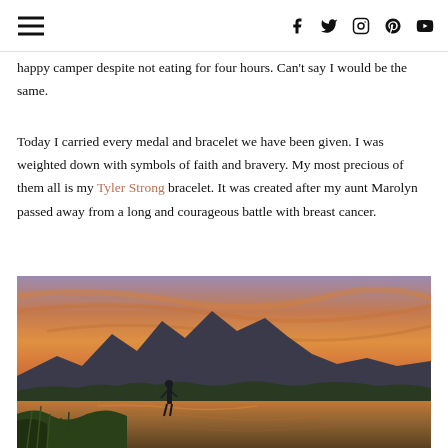navigation header with hamburger menu and social icons (f, twitter, instagram, pinterest, youtube)
happy camper despite not eating for four hours. Can't say I would be the same.
Today I carried every medal and bracelet we have been given. I was weighted down with symbols of faith and bravery. My most precious of them all is my Tyler Strong bracelet. It was created after my aunt Marolyn passed away from a long and courageous battle with breast cancer.
[Figure (photo): A person standing at the edge of a river or lake at sunset, with dramatic mountain peaks (likely Grand Teton) silhouetted against an orange and pink sky, surrounded by green trees and wetlands.]